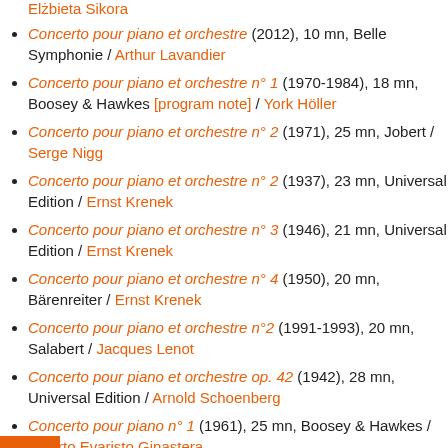Elżbieta Sikora
Concerto pour piano et orchestre (2012), 10 mn, Belle Symphonie / Arthur Lavandier
Concerto pour piano et orchestre n° 1 (1970-1984), 18 mn, Boosey & Hawkes [program note] / York Höller
Concerto pour piano et orchestre n° 2 (1971), 25 mn, Jobert / Serge Nigg
Concerto pour piano et orchestre n° 2 (1937), 23 mn, Universal Edition / Ernst Krenek
Concerto pour piano et orchestre n° 3 (1946), 21 mn, Universal Edition / Ernst Krenek
Concerto pour piano et orchestre n° 4 (1950), 20 mn, Bärenreiter / Ernst Krenek
Concerto pour piano et orchestre n°2 (1991-1993), 20 mn, Salabert / Jacques Lenot
Concerto pour piano et orchestre op. 42 (1942), 28 mn, Universal Edition / Arnold Schoenberg
Concerto pour piano n° 1 (1961), 25 mn, Boosey & Hawkes / Alberto Evaristo Ginastera
Concerto pour piano n° 2 (1972), 35 mn, Boosey & Hawkes / Alberto Evaristo Ginastera